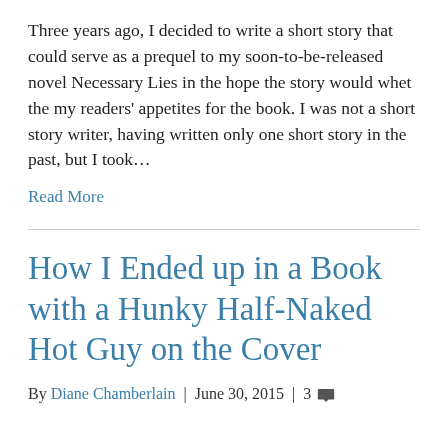Three years ago, I decided to write a short story that could serve as a prequel to my soon-to-be-released novel Necessary Lies in the hope the story would whet the my readers' appetites for the book. I was not a short story writer, having written only one short story in the past, but I took…
Read More
How I Ended up in a Book with a Hunky Half-Naked Hot Guy on the Cover
By Diane Chamberlain | June 30, 2015 | 3